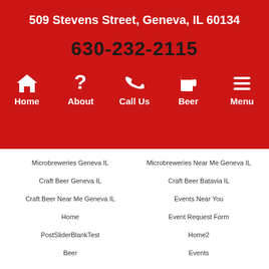509 Stevens Street, Geneva, IL 60134
630-232-2115
[Figure (infographic): Navigation icons bar with Home (house icon), About (question mark), Call Us (phone icon), Beer (beer mug icon), Menu (hamburger menu icon)]
Microbreweries Geneva IL
Microbreweries Near Me Geneva IL
Craft Beer Geneva IL
Craft Beer Batavia IL
Craft Beer Near Me Geneva IL
Events Near You
Home
Event Request Form
PostSliderBlankTest
Home2
Beer
Events